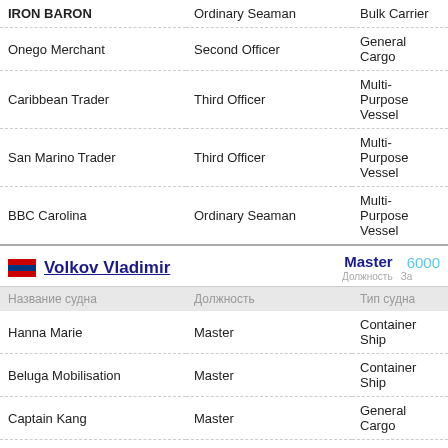| Название судна | Должность | Тип судна |
| --- | --- | --- |
| IRON BARON | Ordinary Seaman | Bulk Carrier |
| Onego Merchant | Second Officer | General Cargo |
| Caribbean Trader | Third Officer | Multi-Purpose Vessel |
| San Marino Trader | Third Officer | Multi-Purpose Vessel |
| BBC Carolina | Ordinary Seaman | Multi-Purpose Vessel |
Volkov Vladimir — Master — 6000
| Название судна | Должность | Тип судна |
| --- | --- | --- |
| Hanna Marie | Master | Container Ship |
| Beluga Mobilisation | Master | Container Ship |
| Captain Kang | Master | General Cargo |
| X-PRESS YAMUNA | Master | Container Ship |
| Primorye Maru | Master |  |
Sasik Valerii — Master — 6600
| Название судна | Должность | Тип судна |
| --- | --- | --- |
| Valerie Schulte | Master | Container Ship |
| OS Marmaris | Master | Container Ship |
| Antje Schulte | Master | Container Ship |